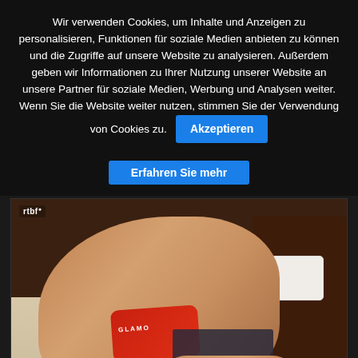Wir verwenden Cookies, um Inhalte und Anzeigen zu personalisieren, Funktionen für soziale Medien anbieten zu können und die Zugriffe auf unsere Website zu analysieren. Außerdem geben wir Informationen zu Ihrer Nutzung unserer Website an unsere Partner für soziale Medien, Werbung und Analysen weiter. Wenn Sie die Website weiter nutzen, stimmen Sie der Verwendung von Cookies zu.
Akzeptieren
Erfahren Sie mehr
[Figure (screenshot): Video still from RTBF showing a woman lying on a hotel bed holding a red GLAMOUR cushion, with the RTBF logo in the top-left and a channel 12 badge in the bottom-right corner.]